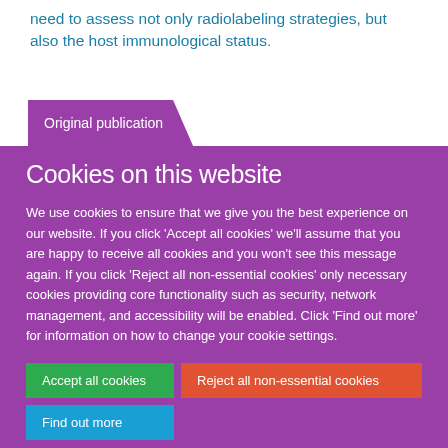need to assess not only radiolabeling strategies, but also the host immunological status.
Original publication
Cookies on this website
We use cookies to ensure that we give you the best experience on our website. If you click 'Accept all cookies' we'll assume that you are happy to receive all cookies and you won't see this message again. If you click 'Reject all non-essential cookies' only necessary cookies providing core functionality such as security, network management, and accessibility will be enabled. Click 'Find out more' for information on how to change your cookie settings.
Accept all cookies
Reject all non-essential cookies
Find out more